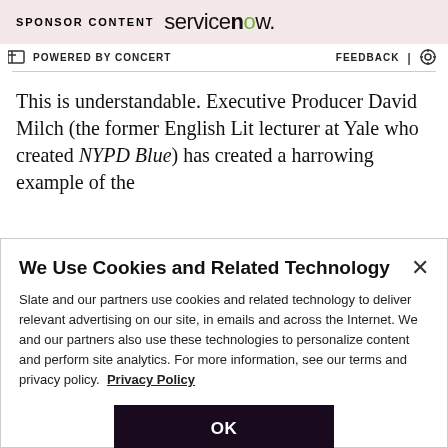SPONSOR CONTENT servicenow.
POWERED BY CONCERT   FEEDBACK
This is understandable. Executive Producer David Milch (the former English Lit lecturer at Yale who created NYPD Blue) has created a harrowing example of the
We Use Cookies and Related Technology
Slate and our partners use cookies and related technology to deliver relevant advertising on our site, in emails and across the Internet. We and our partners also use these technologies to personalize content and perform site analytics. For more information, see our terms and privacy policy.  Privacy Policy
OK